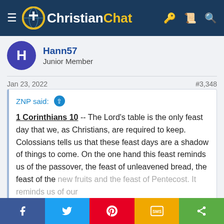Christian Chat
Hann57
Junior Member
Jan 23, 2022   #3,348
ZNP said: ↑ 1 Corinthians 10 -- The Lord's table is the only feast day that we, as Christians, are required to keep. Colossians tells us that these feast days are a shadow of things to come. On the one hand this feast reminds us of the passover, the feast of unleavened bread, the feast of the new fruits and the feast of Pentecost. It reminds us of our journey out of Egypt and into the good land. On the other Click to expand...